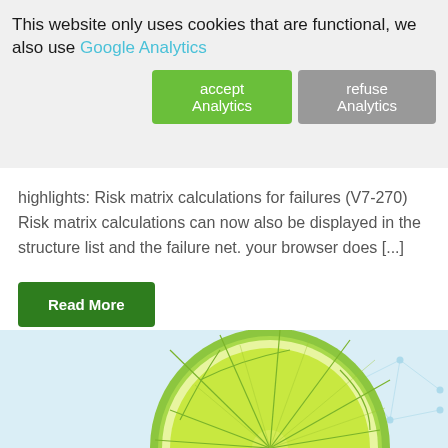This website only uses cookies that are functional, we also use Google Analytics
accept Analytics | refuse Analytics
highlights: Risk matrix calculations for failures (V7-270) Risk matrix calculations can now also be displayed in the structure list and the failure net. your browser does [...]
Read More
[Figure (illustration): Lime cross-section slice on the left side and a light blue network/polygon background on the right side]